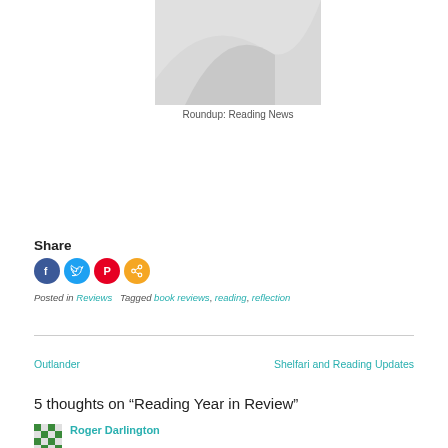[Figure (photo): Placeholder image with diagonal swoosh pattern in gray, representing a reading news roundup article thumbnail]
Roundup: Reading News
Share
[Figure (infographic): Social sharing icons: Facebook (blue), Twitter (light blue), Pinterest (red), and share (orange) circular buttons]
Posted in Reviews   Tagged book reviews, reading, reflection
Outlander
Shelfari and Reading Updates
5 thoughts on “Reading Year in Review”
Roger Darlington